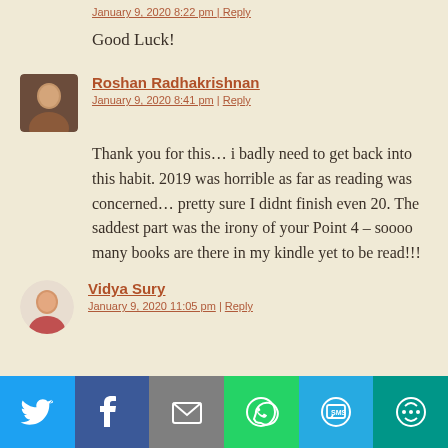January 9, 2020 8:22 pm | Reply
Good Luck!
[Figure (photo): Avatar photo of Roshan Radhakrishnan]
Roshan Radhakrishnan
January 9, 2020 8:41 pm | Reply
Thank you for this… i badly need to get back into this habit. 2019 was horrible as far as reading was concerned… pretty sure I didnt finish even 20. The saddest part was the irony of your Point 4 – soooo many books are there in my kindle yet to be read!!!
[Figure (photo): Avatar photo of Vidya Sury]
Vidya Sury
January 9, 2020 11:05 pm | Reply
[Figure (infographic): Social share bar with Twitter, Facebook, Email, WhatsApp, SMS, and More buttons]